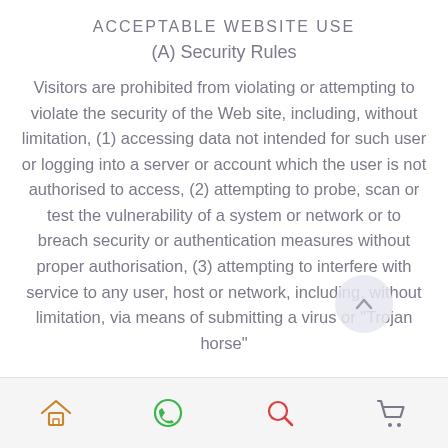ACCEPTABLE WEBSITE USE
(A) Security Rules
Visitors are prohibited from violating or attempting to violate the security of the Web site, including, without limitation, (1) accessing data not intended for such user or logging into a server or account which the user is not authorised to access, (2) attempting to probe, scan or test the vulnerability of a system or network or to breach security or authentication measures without proper authorisation, (3) attempting to interfere with service to any user, host or network, including, without limitation, via means of submitting a virus or "Trojan horse"